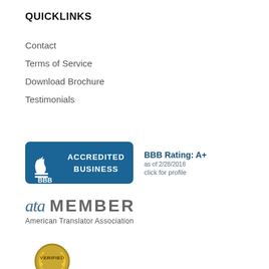QUICKLINKS
Contact
Terms of Service
Download Brochure
Testimonials
[Figure (logo): BBB Accredited Business badge with BBB Rating: A+ as of 2/28/2018, click for profile]
[Figure (logo): ATA Member - American Translator Association logo]
[Figure (logo): Verified badge (partially visible at bottom)]